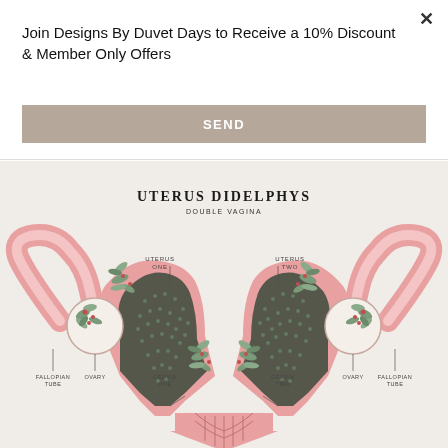Join Designs By Duvet Days to Receive a 10% Discount & Member Only Offers
SEND
[Figure (illustration): Anatomical illustration of Uterus Didelphys (Double Vagina) showing two uteri with fallopian tubes, ovaries, and cervixes labeled. Decorative botanical elements (leaves and berries) are incorporated into the illustration. Labels: UTERUS ONE, UTERUS TWO, FALLOPIAN TUBE (left), OVARY (left), CERVIX ONE, CERVIX TWO, OVARY (right), FALLOPIAN TUBE (right). Title: UTERUS DIDELPHYS, subtitle: DOUBLE VAGINA.]